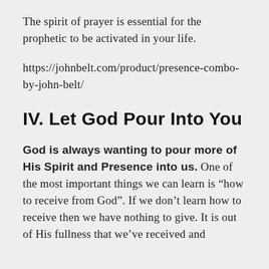The spirit of prayer is essential for the prophetic to be activated in your life.
https://johnbelt.com/product/presence-combo-by-john-belt/
IV. Let God Pour Into You
God is always wanting to pour more of His Spirit and Presence into us. One of the most important things we can learn is “how to receive from God”. If we don’t learn how to receive then we have nothing to give. It is out of His fullness that we’ve received and